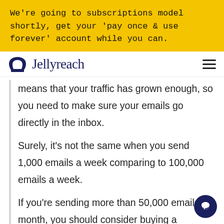We’re going to subscriptions model shortly, get your ‘pay once & use forever’ account while you can.
[Figure (logo): Jellyreach logo with navy arch icon and text]
means that your traffic has grown enough, so you need to make sure your emails go directly in the inbox.
Surely, it’s not the same when you send 1,000 emails a week comparing to 100,000 emails a week.
If you’re sending more than 50,000 emails a month, you should consider buying a dedicated IP address which lets keep your